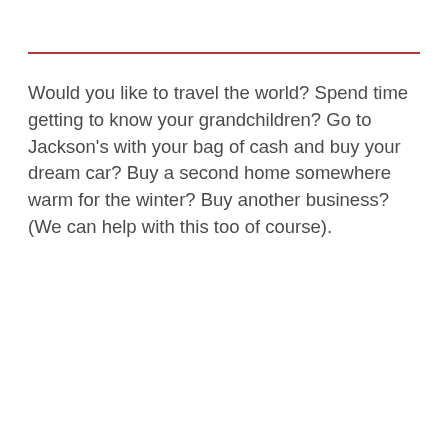Would you like to travel the world? Spend time getting to know your grandchildren? Go to Jackson's with your bag of cash and buy your dream car? Buy a second home somewhere warm for the winter? Buy another business? (We can help with this too of course).